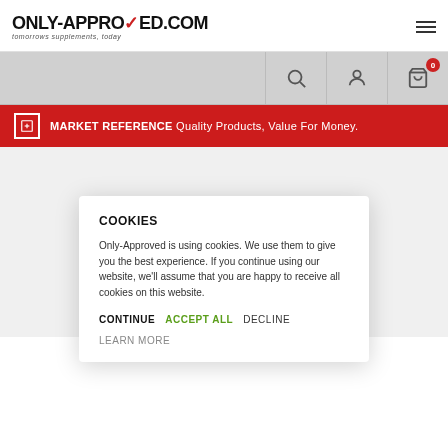ONLY-APPROVED.COM tomorrows supplements, today
[Figure (screenshot): Navigation bar with search, account, and cart (0) icons on grey background]
MARKET REFERENCE Quality Products, Value For Money.
[Figure (photo): Product page background with supplement product image]
COOKIES
Only-Approved is using cookies. We use them to give you the best experience. If you continue using our website, we'll assume that you are happy to receive all cookies on this website.
CONTINUE  ACCEPT ALL  DECLINE  LEARN MORE